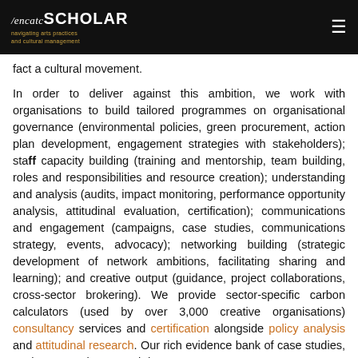/encatcSCHOLAR — navigating arts, cultural management
fact a cultural movement.
In order to deliver against this ambition, we work with organisations to build tailored programmes on organisational governance (environmental policies, green procurement, action plan development, engagement strategies with stakeholders); staff capacity building (training and mentorship, team building, roles and responsibilities and resource creation); understanding and analysis (audits, impact monitoring, performance opportunity analysis, attitudinal evaluation, certification); communications and engagement (campaigns, case studies, communications strategy, events, advocacy); networking building (strategic development of network ambitions, facilitating sharing and learning); and creative output (guidance, project collaborations, cross-sector brokering). We provide sector-specific carbon calculators (used by over 3,000 creative organisations) consultancy services and certification alongside policy analysis and attitudinal research. Our rich evidence bank of case studies, testimony, environmental data